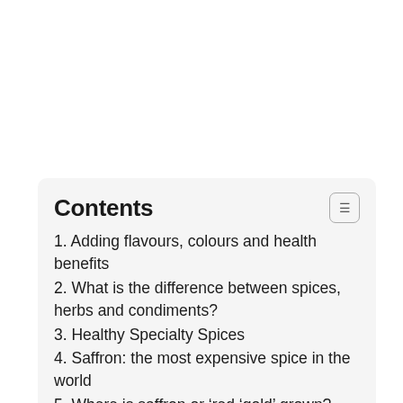Contents
1. Adding flavours, colours and health benefits
2. What is the difference between spices, herbs and condiments?
3. Healthy Specialty Spices
4. Saffron: the most expensive spice in the world
5. Where is saffron or ‘red ‘gold’ grown?
6. Cardamom, the spice from antiquity
7. Healthy Herbs
8. Natural or Organic Condiments
9. Ambergris: a specialty condiment produced by sperm whales